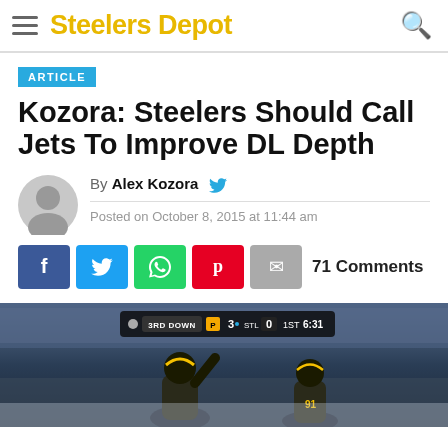Steelers Depot
ARTICLE
Kozora: Steelers Should Call Jets To Improve DL Depth
By Alex Kozora
Posted on October 8, 2015 at 11:44 am
71 Comments
[Figure (photo): Football game photo showing Steelers players on field with scoreboard overlay reading 3RD DOWN, PIT 3, STL 0, 1ST, 6:31]